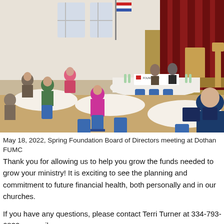[Figure (photo): A meeting room scene showing people seated at round tables with blue chairs, attending a Spring Foundation Board of Directors meeting at Dothan FUMC. A table with a foundation banner and two presenters is visible at the front near a stage with red curtains.]
May 18, 2022, Spring Foundation Board of Directors meeting at Dothan FUMC
Thank you for allowing us to help you grow the funds needed to grow your ministry! It is exciting to see the planning and commitment to future financial health, both personally and in our churches.
If you have any questions, please contact Terri Turner at 334-793-6820 or email